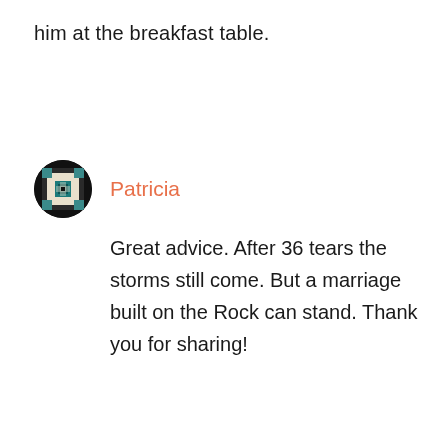him at the breakfast table.
[Figure (illustration): Circular avatar with a quilt/cross-stitch pattern design on a dark background — teal, black, and cream geometric pattern]
Patricia
Great advice. After 36 tears the storms still come. But a marriage built on the Rock can stand. Thank you for sharing!